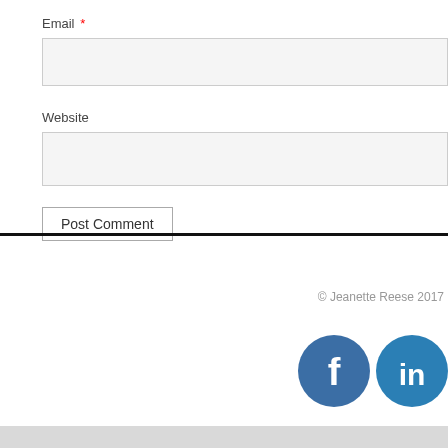Email *
Website
Post Comment
© Jeanette Reese 2017
[Figure (illustration): Facebook and LinkedIn social media icon buttons (circular, steel blue)]